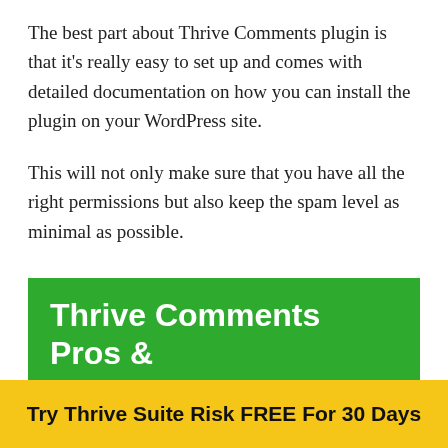The best part about Thrive Comments plugin is that it's really easy to set up and comes with detailed documentation on how you can install the plugin on your WordPress site.
This will not only make sure that you have all the right permissions but also keep the spam level as minimal as possible.
Thrive Comments Pros & Cons
Try Thrive Suite Risk FREE For 30 Days